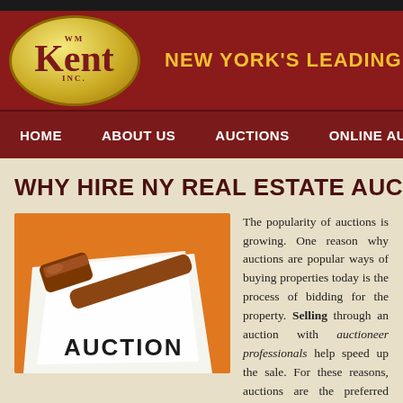[Figure (logo): WM Kent Inc logo - gold oval with dark red serif text]
NEW YORK'S LEADING AUCTI...
HOME    ABOUT US    AUCTIONS    ONLINE AUCTIONS
WHY HIRE NY REAL ESTATE AUCTION
[Figure (photo): Photo of an auctioneer gavel resting on paper with AUCTION text, on orange background]
The popularity of auctions is growing. One reason why auctions are popular ways of buying properties today is the process of bidding for the property. Selling through an auction with auctioneer professionals help speed up the sale. For these reasons, auctions are the preferred choice for buying...